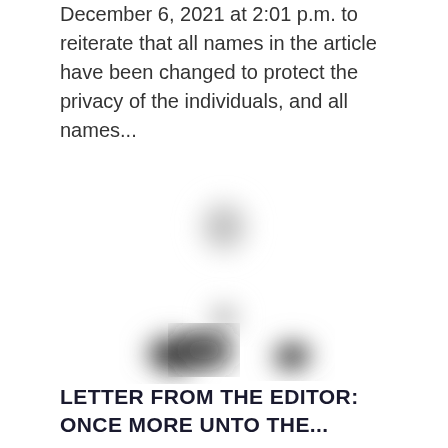December 6, 2021 at 2:01 p.m. to reiterate that all names in the article have been changed to protect the privacy of the individuals, and all names...
[Figure (photo): A blurred/obscured photo of a person, heavily blurred to conceal identity, showing dark and light tones suggesting a person wearing dark clothing.]
LETTER FROM THE EDITOR: ONCE MORE UNTO THE...